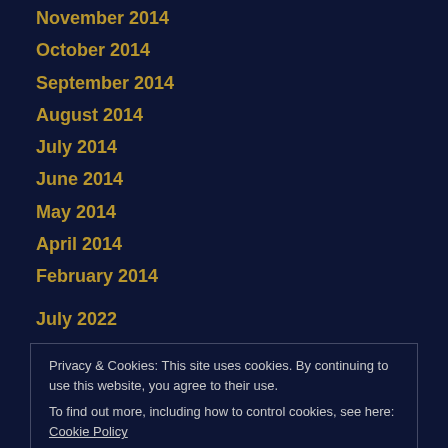November 2014
October 2014
September 2014
August 2014
July 2014
June 2014
May 2014
April 2014
February 2014
July 2022
Privacy & Cookies: This site uses cookies. By continuing to use this website, you agree to their use. To find out more, including how to control cookies, see here: Cookie Policy
December 2021